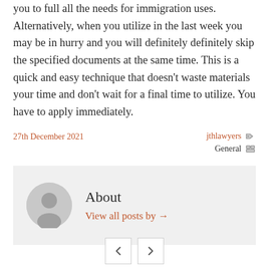you to full all the needs for immigration uses. Alternatively, when you utilize in the last week you may be in hurry and you will definitely definitely skip the specified documents at the same time. This is a quick and easy technique that doesn't waste materials your time and don't wait for a final time to utilize. You have to apply immediately.
27th December 2021
jthlawyers General
About
View all posts by →